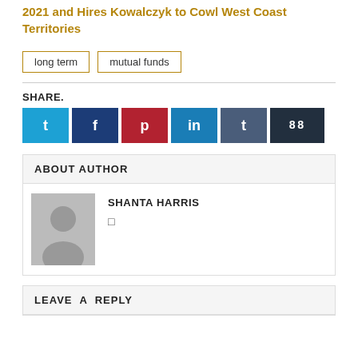2021 and Hires Kowalczyk to Cowl West Coast Territories
long term | mutual funds
SHARE.
[Figure (other): Row of social share buttons: Twitter (blue), Facebook (dark blue), Pinterest (red), LinkedIn (blue), Tumblr (slate blue), counter showing 88 (dark navy)]
ABOUT AUTHOR
SHANTA HARRIS
[Figure (photo): Grey placeholder avatar silhouette image]
LEAVE A REPLY